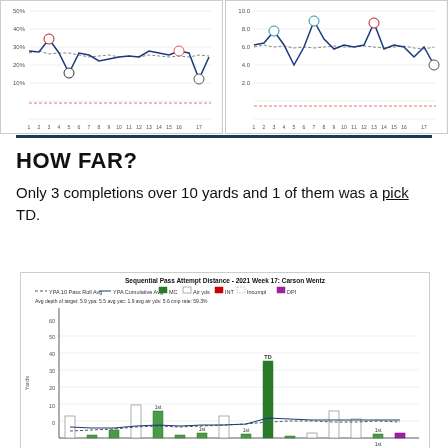[Figure (continuous-plot): Two line charts side by side showing weekly percentage stats and per-game stats (values 1-17 weeks) with team logos as data points, blue solid and dashed trend lines, and a red dashed baseline]
HOW FAR?
Only 3 completions over 10 yards and 1 of them was a pick TD.
[Figure (bar-chart): Sequential Pass Attempt Distance - 2021 Week 17: Carson Wentz. Bar chart showing yards per pass attempt with labeled bars (TD, 1st, etc.), green filled bars for completions, white/empty bars for incompletions, red for INT, purple for DPI. Includes YPA 10 Pass Roll Avg and YPA Cumulative Avg lines. Avg depth of target: 5.9, ypa: 5.5, avg yac: 1.9, avg air yds: 5.6, cmp rate: 59.3%]